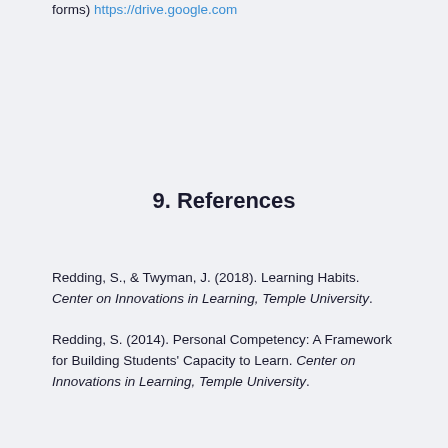forms) https://drive.google.com
9. References
Redding, S., & Twyman, J. (2018). Learning Habits. Center on Innovations in Learning, Temple University.
Redding, S. (2014). Personal Competency: A Framework for Building Students' Capacity to Learn. Center on Innovations in Learning, Temple University.